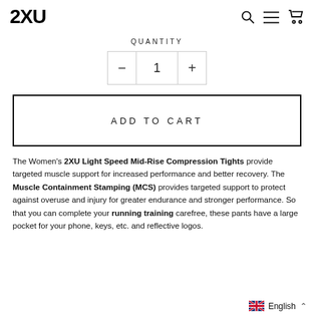2XU [logo with search, menu, cart icons]
QUANTITY
- 1 +
ADD TO CART
The Women's 2XU Light Speed Mid-Rise Compression Tights provide targeted muscle support for increased performance and better recovery. The Muscle Containment Stamping (MCS) provides targeted support to protect against overuse and injury for greater endurance and stronger performance. So that you can complete your running training carefree, these pants have a large pocket for your phone, keys, etc. and reflective logos.
English